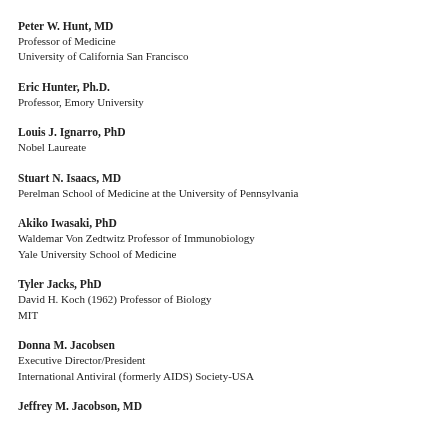Peter W. Hunt, MD
Professor of Medicine
University of California San Francisco
Eric Hunter, Ph.D.
Professor, Emory University
Louis J. Ignarro, PhD
Nobel Laureate
Stuart N. Isaacs, MD
Perelman School of Medicine at the University of Pennsylvania
Akiko Iwasaki, PhD
Waldemar Von Zedtwitz Professor of Immunobiology
Yale University School of Medicine
Tyler Jacks, PhD
David H. Koch (1962) Professor of Biology
MIT
Donna M. Jacobsen
Executive Director/President
International Antiviral (formerly AIDS) Society-USA
Jeffrey M. Jacobson, MD